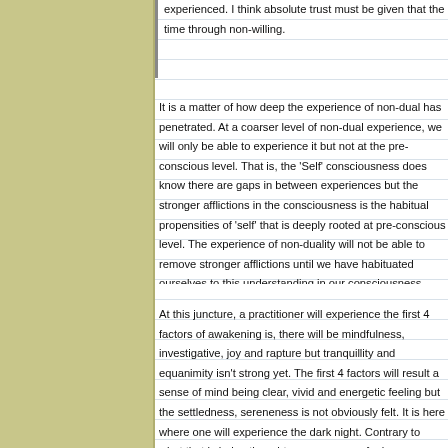experienced. I think absolute trust must be given that the time through non-willing.
It is a matter of how deep the experience of non-dual has penetrated. At a coarser level of non-dual experience, we will only be able to experience it but not at the pre-conscious level. That is, the 'Self' consciousness does know there are gaps in between experiences but the stronger afflictions in the consciousness is the habitual propensities of 'self' that is deeply rooted at pre-conscious level. The experience of non-duality will not be able to remove stronger afflictions until we have habituated ourselves to this understanding in our consciousness.
At this juncture, a practitioner will experience the first 4 factors of awakening is, there will be mindfulness, investigative, joy and rapture but tranquillity and equanimity isn't strong yet. The first 4 factors will result a sense of mind being clear, vivid and energetic feeling but the settledness, sereneness is not obviously felt. It is here where one will experience the dark night. Contrary to what that is being thought, one may even feel more blissful here. But somehow the non-dual experience also has the strength to pull one and may experienced it in some synchronic events that serve as reminders for...
the experience of equanimity. You may want to find out why…?
Lastly hee…Having said that much, it seems that lots of effort ne...